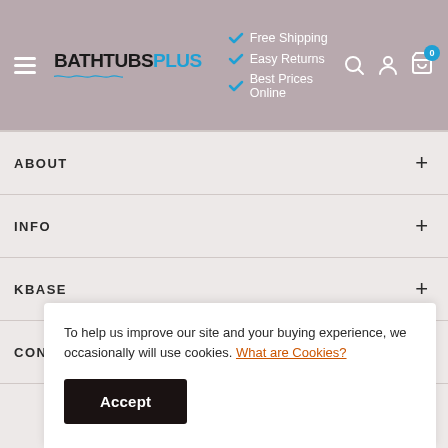BATHTUBS PLUS — Free Shipping, Easy Returns, Best Prices Online
ABOUT
INFO
KBASE
CONTACTS
To help us improve our site and your buying experience, we occasionally will use cookies. What are Cookies?
Accept